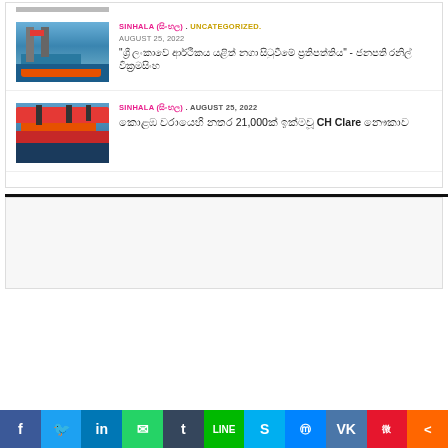[Figure (photo): Partial image of a container ship at port (top strip only visible)]
[Figure (photo): Container ship with crane at port]
SINHALA (සිංහල). UNCATEGORIZED. AUGUST 25, 2022
"ශ්‍රී ලංකාවේ ආර්ථිකය යළිත් නගා සිටුවීමේ ප්‍රතිපත්තිය"- ජනපති රනිල් වික්‍රමසිංහ
[Figure (photo): Aerial view of a busy port with ships and cargo]
SINHALA (සිංහල). AUGUST 25, 2022
කොළඹ වරායෙහි නතර 21,000ක් ඉක්මවූ CH Clare නෞකාව
[Figure (other): Advertisement box]
f  Twitter  in  WhatsApp  Tumblr  LINE  Skype  Messenger  VK  Weibo  Share